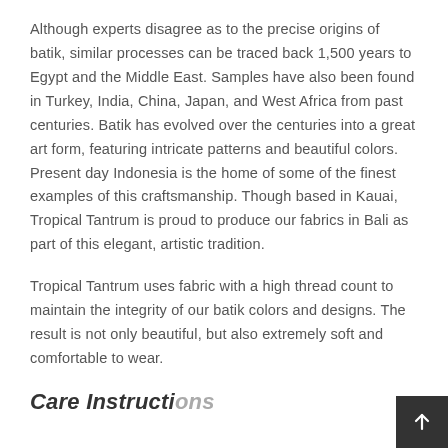Although experts disagree as to the precise origins of batik, similar processes can be traced back 1,500 years to Egypt and the Middle East. Samples have also been found in Turkey, India, China, Japan, and West Africa from past centuries. Batik has evolved over the centuries into a great art form, featuring intricate patterns and beautiful colors. Present day Indonesia is the home of some of the finest examples of this craftsmanship. Though based in Kauai, Tropical Tantrum is proud to produce our fabrics in Bali as part of this elegant, artistic tradition.
Tropical Tantrum uses fabric with a high thread count to maintain the integrity of our batik colors and designs. The result is not only beautiful, but also extremely soft and comfortable to wear.
Care Instructions